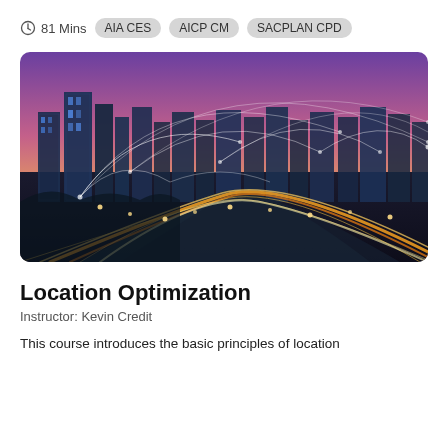81 Mins  AIA CES  AICP CM  SACPLAN CPD
[Figure (photo): Aerial night cityscape with glowing highway light trails and network connection arcs overlaid on a purple-pink sunset sky with skyscrapers]
Location Optimization
Instructor: Kevin Credit
This course introduces the basic principles of location